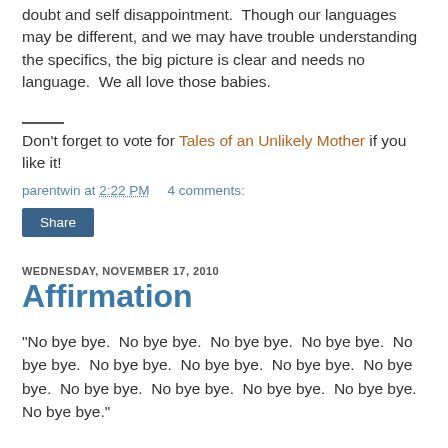doubt and self disappointment.  Though our languages may be different, and we may have trouble understanding the specifics, the big picture is clear and needs no language.  We all love those babies.
Don't forget to vote for Tales of an Unlikely Mother if you like it!
parentwin at 2:22 PM    4 comments:
Share
WEDNESDAY, NOVEMBER 17, 2010
Affirmation
"No bye bye.  No bye bye.  No bye bye.  No bye bye.  No bye bye.  No bye bye.  No bye bye.  No bye bye.  No bye bye.  No bye bye.  No bye bye.  No bye bye.  No bye bye.  No bye bye."